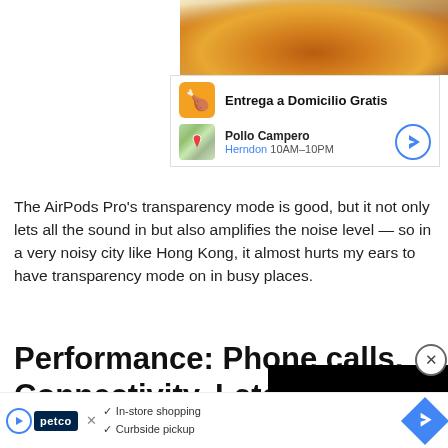[Figure (photo): Food photo showing fried chicken pieces on a plate, partially visible at top of page]
[Figure (screenshot): Restaurant ad banner: Entrega a Domicilio Gratis, Pollo Campero, Herndon 10AM-10PM with navigation button]
The AirPods Pro’s transparency mode is good, but it not only lets all the sound in but also amplifies the noise level — so in a very noisy city like Hong Kong, it almost hurts my ears to have transparency mode on in busy places.
Performance: Phone calls, Connectivity, Late
Connectivity with both earbuds automatically pair to my phone from there they very rarely suf true wireless earbuds generally suffer in vast open spaces becaus bounce wireles n
[Figure (screenshot): Petco advertisement bar at bottom showing In-store shopping and Curbside pickup options with navigation icon]
[Figure (screenshot): Black video player overlay covering right portion of section header area]